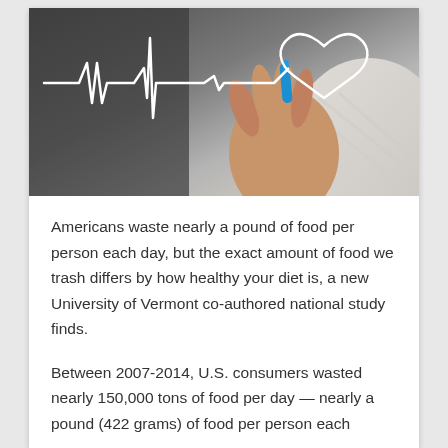[Figure (photo): A hand holding a blue marker drawing a heart outline with an ECG/heartbeat line on a dark gray surface. The person is wearing a white striped shirt.]
Americans waste nearly a pound of food per person each day, but the exact amount of food we trash differs by how healthy your diet is, a new University of Vermont co-authored national study finds.
Between 2007-2014, U.S. consumers wasted nearly 150,000 tons of food per day — nearly a pound (422 grams) of food per person each